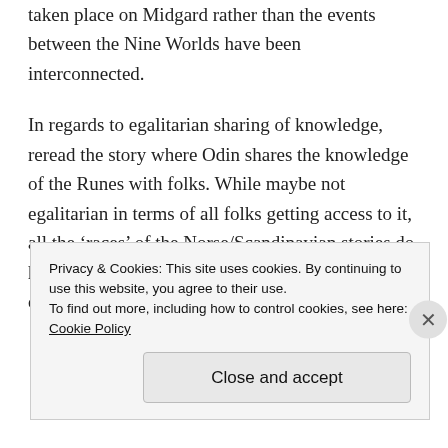taken place on Midgard rather than the events between the Nine Worlds have been interconnected.
In regards to egalitarian sharing of knowledge, reread the story where Odin shares the knowledge of the Runes with folks. While maybe not egalitarian in terms of all folks getting access to it, all the ‘races’ of the Norse/Scandinavian stories do have access to the Runes. I’m also not sure that doing this sharing of knowledge
Privacy & Cookies: This site uses cookies. By continuing to use this website, you agree to their use.
To find out more, including how to control cookies, see here: Cookie Policy